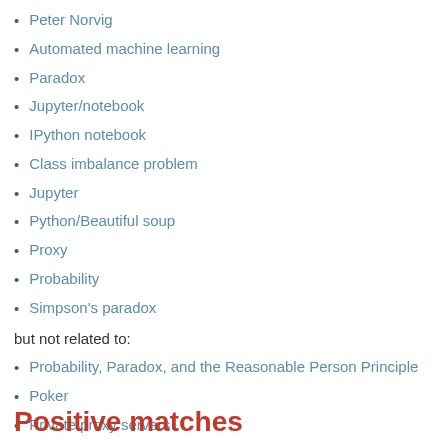Peter Norvig
Automated machine learning
Paradox
Jupyter/notebook
IPython notebook
Class imbalance problem
Jupyter
Python/Beautiful soup
Proxy
Probability
Simpson's paradox
but not related to:
Probability, Paradox, and the Reasonable Person Principle
Poker
Private proxy servers
Python/Blaze
Positive matches